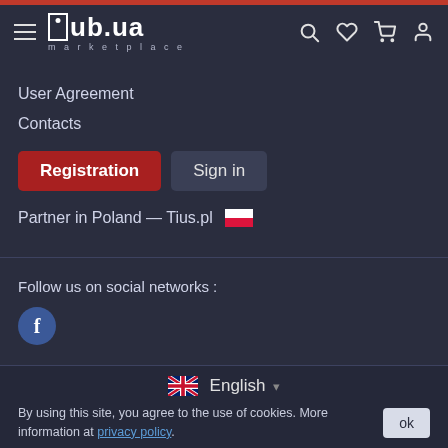[Figure (screenshot): ub.ua marketplace website navigation header with hamburger menu, logo, search, heart, cart, and profile icons on dark background]
User Agreement
Contacts
Registration
Sign in
Partner in Poland — Tius.pl
Follow us on social networks :
[Figure (logo): Facebook icon circle]
English
By using this site, you agree to the use of cookies. More information at privacy policy.